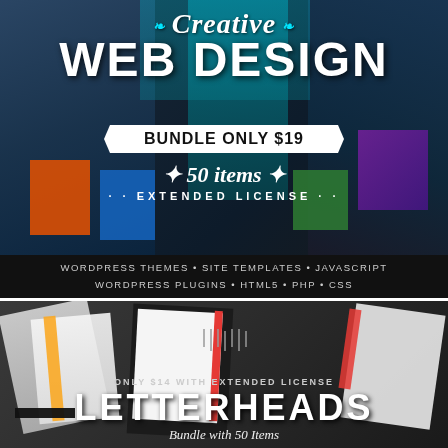[Figure (infographic): Creative Web Design Bundle promotional banner. Background collage of website templates and design assets. Title reads 'Creative WEB DESIGN BUNDLE ONLY $19 • 50 items EXTENDED LICENSE'. Bottom strip lists: WORDPRESS THEMES • SITE TEMPLATES • JAVASCRIPT / WORDPRESS PLUGINS • HTML5 • PHP • CSS]
WORDPRESS THEMES • SITE TEMPLATES • JAVASCRIPT
WORDPRESS PLUGINS • HTML5 • PHP • CSS
[Figure (infographic): Letterheads bundle promotional banner showing document/letterhead mockups with text: ONLY $14 WITH EXTENDED LICENSE LETTERHEADS Bundle with 50 Items]
LETTERHEADS
Bundle with 50 Items